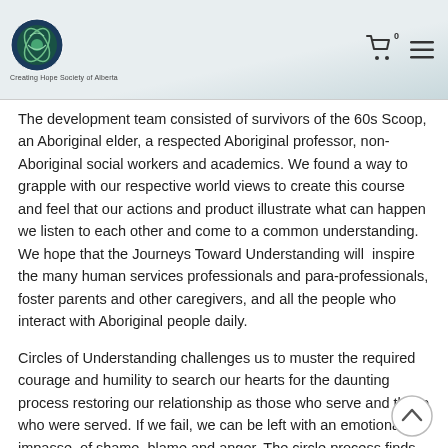Creating Hope Society of Alberta
The development team consisted of survivors of the 60s Scoop, an Aboriginal elder, a respected Aboriginal professor, non- Aboriginal social workers and academics. We found a way to grapple with our respective world views to create this course and feel that our actions and product illustrate what can happen we listen to each other and come to a common understanding. We hope that the Journeys Toward Understanding will inspire the many human services professionals and para-professionals, foster parents and other caregivers, and all the people who interact with Aboriginal people daily.
Circles of Understanding challenges us to muster the required courage and humility to search our hearts for the daunting process restoring our relationship as those who serve and those who were served. If we fail, we can be left with an emotional impasse, of shame, blame and anger. The circle process finds its logic in the patterns of nature. It follows the same cycles that we find in the natural world. The Medicine Wheel serves as our anchor in this